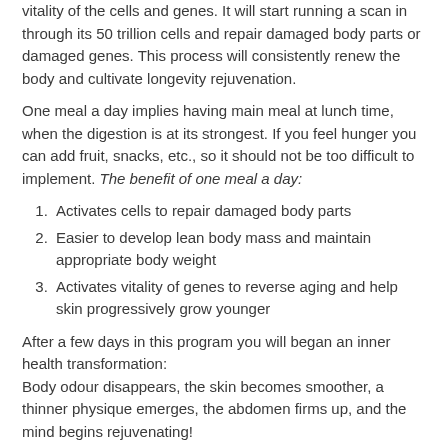vitality of the cells and genes. It will start running a scan in through its 50 trillion cells and repair damaged body parts or damaged genes. This process will consistently renew the body and cultivate longevity rejuvenation.
One meal a day implies having main meal at lunch time, when the digestion is at its strongest. If you feel hunger you can add fruit, snacks, etc., so it should not be too difficult to implement. The benefit of one meal a day:
Activates cells to repair damaged body parts
Easier to develop lean body mass and maintain appropriate body weight
Activates vitality of genes to reverse aging and help skin progressively grow younger
After a few days in this program you will began an inner health transformation:
Body odour disappears, the skin becomes smoother, a thinner physique emerges, the abdomen firms up, and the mind begins rejuvenating!